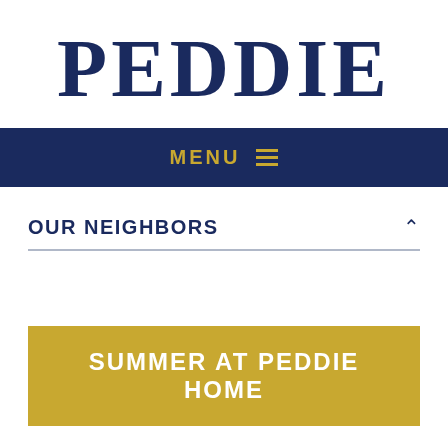PEDDIE
MENU ☰
OUR NEIGHBORS
SUMMER AT PEDDIE HOME